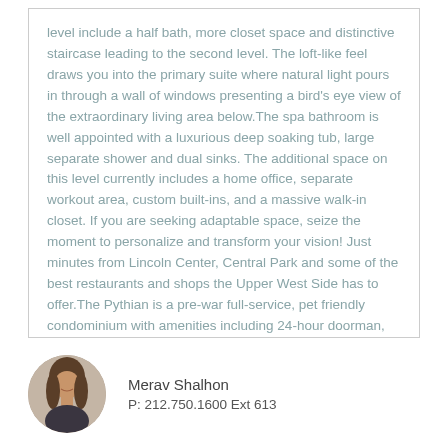level include a half bath, more closet space and distinctive staircase leading to the second level. The loft-like feel draws you into the primary suite where natural light pours in through a wall of windows presenting a bird's eye view of the extraordinary living area below. The spa bathroom is well appointed with a luxurious deep soaking tub, large separate shower and dual sinks. The additional space on this level currently includes a home office, separate workout area, custom built-ins, and a massive walk-in closet. If you are seeking adaptable space, seize the moment to personalize and transform your vision! Just minutes from Lincoln Center, Central Park and some of the best restaurants and shops the Upper West Side has to offer. The Pythian is a pre-war full-service, pet friendly condominium with amenities including 24-hour doorman, gym, playroom and storage.
[Figure (photo): Circular headshot photo of agent Merav Shalhon]
Merav Shalhon
P: 212.750.1600 Ext 613